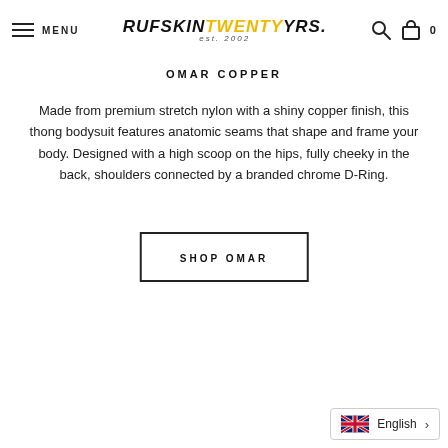RUFSKIN TWENTY YRS. est. 2002 — MENU
OMAR COPPER
Made from premium stretch nylon with a shiny copper finish, this thong bodysuit features anatomic seams that shape and frame your body. Designed with a high scoop on the hips, fully cheeky in the back, shoulders connected by a branded chrome D-Ring.
SHOP OMAR
English